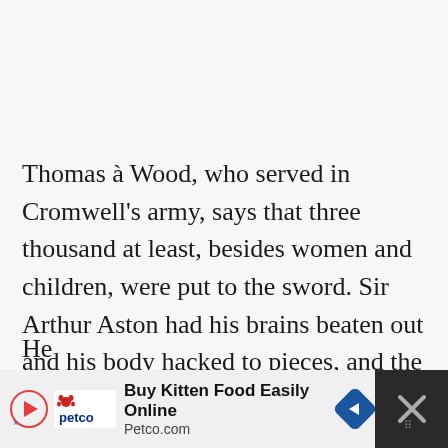Thomas à Wood, who served in Cromwell's army, says that three thousand at least, besides women and children, were put to the sword. Sir Arthur Aston had his brains beaten out and his body hacked to pieces, and the women of high and low rank who took refuge in the vaults were slain without pity.[2]
He
[Figure (other): Petco advertisement banner: 'Buy Kitten Food Easily Online — Petco.com' with Petco logo and navigation arrow, with a dark close button on the right]